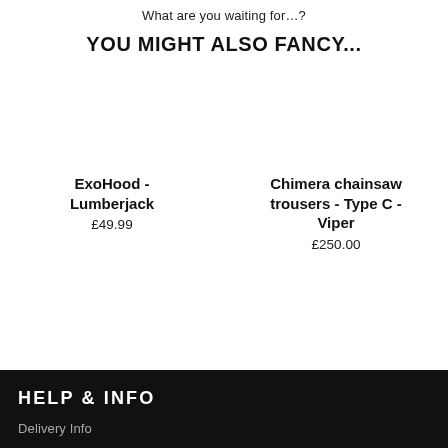What are you waiting for…?
YOU MIGHT ALSO FANCY...
ExoHood - Lumberjack
£49.99
Chimera chainsaw trousers - Type C - Viper
£250.00
ExoRanger - T-Rexoranger
£23.99
ExoRanger - Jungle Dragon
£23.99
HELP & INFO
Delivery Info